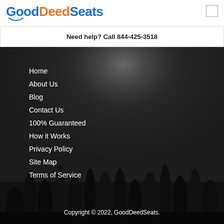GoodDeedSeats
Need help? Call 844-425-3518
[Figure (photo): Dark background with concert crowd silhouettes raising hands, spotlight from above]
Home
About Us
Blog
Contact Us
100% Guaranteed
How it Works
Privacy Policy
Site Map
Terms of Service
Copyright © 2022, GoodDeedSeats.